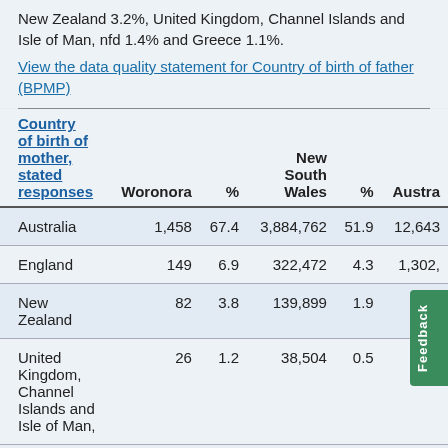New Zealand 3.2%, United Kingdom, Channel Islands and Isle of Man, nfd 1.4% and Greece 1.1%.
View the data quality statement for Country of birth of father (BPMP)
| Country of birth of mother, stated responses | Woronora | % | New South Wales | % | Austra |
| --- | --- | --- | --- | --- | --- |
| Australia | 1,458 | 67.4 | 3,884,762 | 51.9 | 12,643 |
| England | 149 | 6.9 | 322,472 | 4.3 | 1,302, |
| New Zealand | 82 | 3.8 | 139,899 | 1.9 | 608, |
| United Kingdom, Channel Islands and Isle of Man, | 26 | 1.2 | 38,504 | 0.5 | 155, |